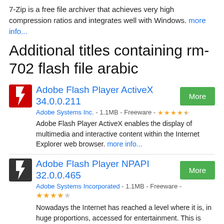7-Zip is a free file archiver that achieves very high compression ratios and integrates well with Windows. more info...
Additional titles containing rm-702 flash file arabic
Adobe Flash Player ActiveX 34.0.0.211
Adobe Systems Inc. - 1.1MB - Freeware - ★★★★☆
Adobe Flash Player ActiveX enables the display of multimedia and interactive content within the Internet Explorer web browser. more info...
Adobe Flash Player NPAPI 32.0.0.465
Adobe Systems Incorporated - 1.1MB - Freeware -
★★★★☆
Nowadays the Internet has reached a level where it is, in huge proportions, accessed for entertainment. This is mainly found in the form of media, with most websites relying on special tools in order to get the video, audio and even games … more info...